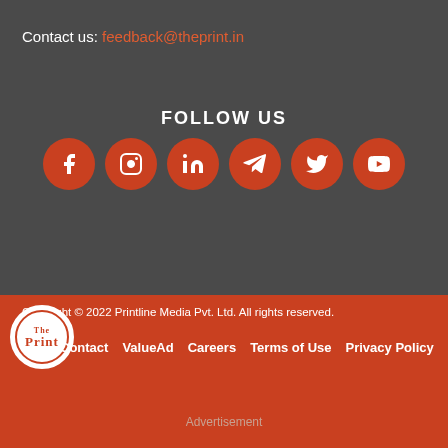Contact us: feedback@theprint.in
FOLLOW US
[Figure (infographic): Six social media icon circles (Facebook, Instagram, LinkedIn, Telegram, Twitter, YouTube) in orange/red on dark background]
Copyright © 2022 Printline Media Pvt. Ltd. All rights reserved.
Contact   ValueAd   Careers   Terms of Use   Privacy Policy
Advertisement